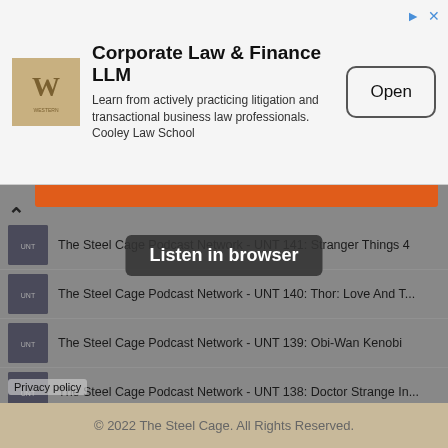[Figure (screenshot): Ad banner for Corporate Law & Finance LLM from Cooley Law School with a W logo, Open button, and close/info icons]
Corporate Law & Finance LLM
Learn from actively practicing litigation and transactional business law professionals. Cooley Law School
[Figure (screenshot): Podcast player showing The Steel Cage Podcast Network episodes with orange bar, collapse arrow, Listen in browser tooltip, and episode list]
The Steel Cage Podcast Network - UNT 141: Stranger Things 4
The Steel Cage Podcast Network - UNT 140: Thor: Love And T...
The Steel Cage Podcast Network - UNT 139: Obi-Wan Kenobi
The Steel Cage Podcast Network - UNT 138: Doctor Strange In...
The Steel Cage Podcast Network - UNT 137: Doctor Strange (2...
The Steel Cage Podcast Network - Aussie Top 3 - Episode 30: ...
Latest tracks by The Steel Cage Podcast Network
Privacy policy
© 2022 The Steel Cage. All Rights Reserved.